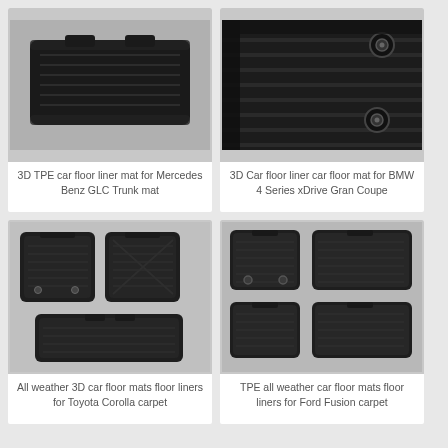[Figure (photo): 3D TPE car floor liner mat for Mercedes Benz GLC Trunk mat - black rubber floor mat shown from above]
3D TPE car floor liner mat for Mercedes Benz GLC Trunk mat
[Figure (photo): 3D Car floor liner car floor mat for BMW 4 Series xDrive Gran Coupe - close-up of black rubber floor mat with mounting hardware]
3D Car floor liner car floor mat for BMW 4 Series xDrive Gran Coupe
[Figure (photo): All weather 3D car floor mats floor liners for Toyota Corolla carpet - set of front and rear black rubber mats]
All weather 3D car floor mats floor liners for Toyota Corolla carpet
[Figure (photo): TPE all weather car floor mats floor liners for Ford Fusion carpet - complete set of 5 black rubber floor mats]
TPE all weather car floor mats floor liners for Ford Fusion carpet